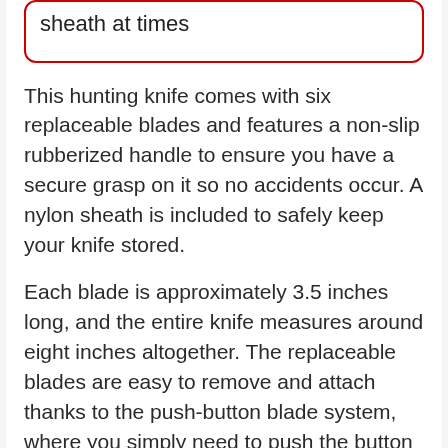sheath at times
This hunting knife comes with six replaceable blades and features a non-slip rubberized handle to ensure you have a secure grasp on it so no accidents occur. A nylon sheath is included to safely keep your knife stored.
Each blade is approximately 3.5 inches long, and the entire knife measures around eight inches altogether. The replaceable blades are easy to remove and attach thanks to the push-button blade system, where you simply need to push the button to release the blade with a fair amount of pressure. Each blade is